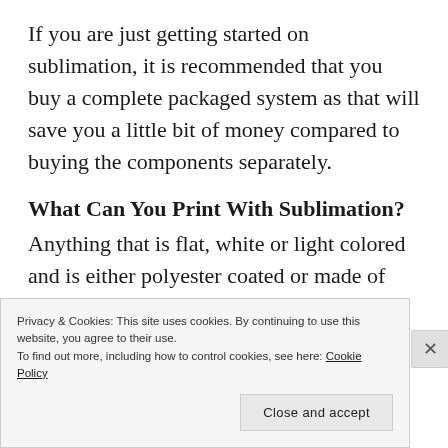If you are just getting started on sublimation, it is recommended that you buy a complete packaged system as that will save you a little bit of money compared to buying the components separately.
What Can You Print With Sublimation?
Anything that is flat, white or light colored and is either polyester coated or made of polyester fabric. You can also print on mugs.
Privacy & Cookies: This site uses cookies. By continuing to use this website, you agree to their use.
To find out more, including how to control cookies, see here: Cookie Policy
Close and accept